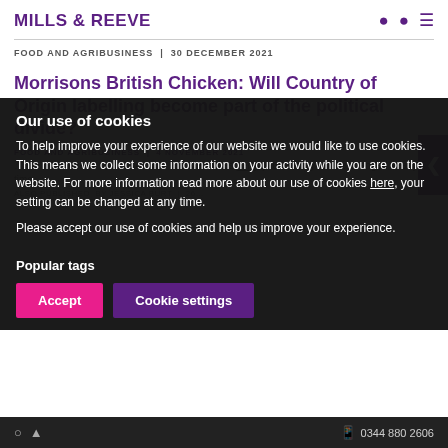MILLS & REEVE
FOOD AND AGRIBUSINESS | 30 DECEMBER 2021
Morrisons British Chicken: Will Country of Origin labelling become part of the political divide?
Our use of cookies
To help improve your experience of our website we would like to use cookies. This means we collect some information on your activity while you are on the website. For more information read more about our use of cookies here, your setting can be changed at any time.
Please accept our use of cookies and help us improve your experience.
Popular tags
Accept
Cookie settings
0344 880 2666